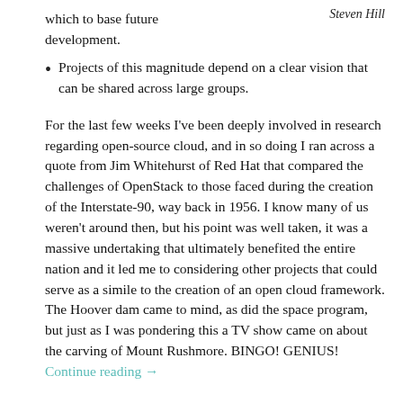which to base future development.
Steven Hill
Projects of this magnitude depend on a clear vision that can be shared across large groups.
For the last few weeks I've been deeply involved in research regarding open-source cloud, and in so doing I ran across a quote from Jim Whitehurst of Red Hat that compared the challenges of OpenStack to those faced during the creation of the Interstate-90, way back in 1956. I know many of us weren't around then, but his point was well taken, it was a massive undertaking that ultimately benefited the entire nation and it led me to considering other projects that could serve as a simile to the creation of an open cloud framework. The Hoover dam came to mind, as did the space program, but just as I was pondering this a TV show came on about the carving of Mount Rushmore. BINGO! GENIUS! Continue reading →